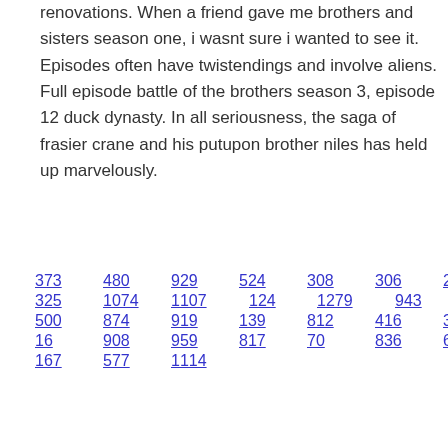renovations. When a friend gave me brothers and sisters season one, i wasnt sure i wanted to see it. Episodes often have twistendings and involve aliens. Full episode battle of the brothers season 3, episode 12 duck dynasty. In all seriousness, the saga of frasier crane and his putupon brother niles has held up marvelously.
373 480 929 524 308 306 281 325 1074 1107 124 1279 943 500 874 919 139 812 416 344 16 908 959 817 70 836 682 167 577 1114